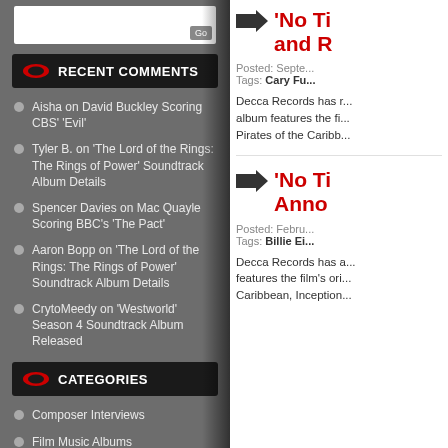RECENT COMMENTS
Aisha on David Buckley Scoring CBS' 'Evil'
Tyler B. on 'The Lord of the Rings: The Rings of Power' Soundtrack Album Details
Spencer Davies on Mac Quayle Scoring BBC's 'The Pact'
Aaron Bopp on 'The Lord of the Rings: The Rings of Power' Soundtrack Album Details
CrytoMeedy on 'Westworld' Season 4 Soundtrack Album Released
CATEGORIES
Composer Interviews
Film Music Albums
Film Music Events
Film Music News
Film Scoring Assignments
Television Music Albums
'No Ti... and R...
Posted: Septe... Tags: Cary Fu...
Decca Records has r... album features the fi... Pirates of the Caribb...
'No Ti... Anno...
Posted: Febru... Tags: Billie Ei...
Decca Records has a... features the film's ori... Caribbean, Inception...